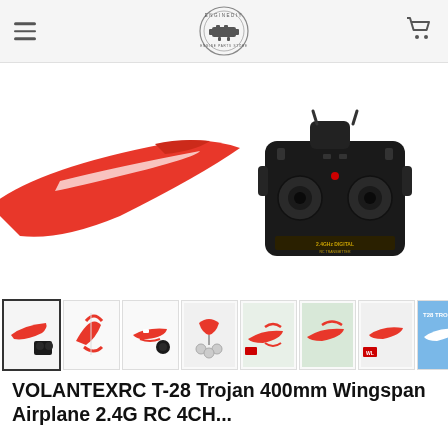[Figure (screenshot): EngineDIY e-commerce website header with hamburger menu icon on the left, circular engine logo in the center, and shopping cart icon on the right]
[Figure (screenshot): Search bar with placeholder text 'What are you looking for?' and a black search button with magnifying glass icon]
[Figure (photo): Product image showing a red RC airplane wing/fuselage section on the left and a black 2.4G digital RC transmitter/controller on the right, against a white background]
[Figure (screenshot): Row of 8 product thumbnail images showing different views and features of the VOLANTEXRC T-28 Trojan RC airplane and its accessories]
VOLANTEXRC T-28 Trojan 400mm Wingspan Airplane 2.4G RC 4CH...